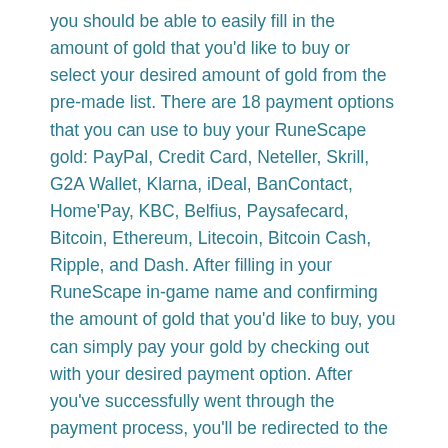you should be able to easily fill in the amount of gold that you'd like to buy or select your desired amount of gold from the pre-made list. There are 18 payment options that you can use to buy your RuneScape gold: PayPal, Credit Card, Neteller, Skrill, G2A Wallet, Klarna, iDeal, BanContact, Home'Pay, KBC, Belfius, Paysafecard, Bitcoin, Ethereum, Litecoin, Bitcoin Cash, Ripple, and Dash. After filling in your RuneScape in-game name and confirming the amount of gold that you'd like to buy, you can simply pay your gold by checking out with your desired payment option. After you've successfully went through the payment process, you'll be redirected to the website and you'll be contacted by one of the live chat agents. They'll give you a world and location where you can pick up your gold, it's as simple as that! This whole process only takes a couple of minutes, saving you eventually hours/days of boring gameplay.